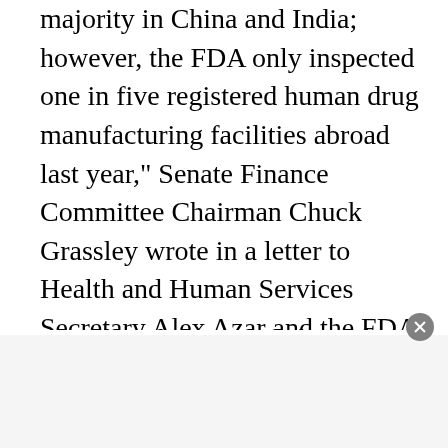majority in China and India; however, the FDA only inspected one in five registered human drug manufacturing facilities abroad last year," Senate Finance Committee Chairman Chuck Grassley wrote in a letter to Health and Human Services Secretary Alex Azar and the FDA last year.
Grassley also warned about the risks that come with foreign manufacturing of pharmaceuticals: